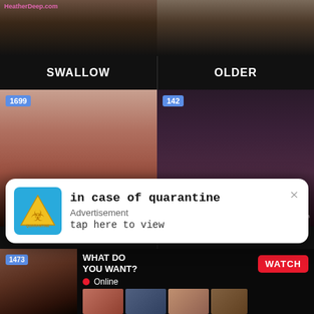[Figure (screenshot): Adult video thumbnail top left with watermark HeatherDeep.com]
[Figure (screenshot): Adult video thumbnail top right]
SWALLOW
OLDER
[Figure (screenshot): Adult video thumbnail mid left, count badge 1699]
[Figure (screenshot): Adult video thumbnail mid right, count badge 142]
[Figure (screenshot): In case of quarantine advertisement overlay with biohazard icon, text: in case of quarantine / Advertisement / tap here to view, close X button]
[Figure (screenshot): Bottom left adult video thumbnail, count badge 1473]
[Figure (screenshot): WHAT DO YOU WANT? ad panel with WATCH button, Online indicator, thumbnails, text: Cumming, ass fucking, squirt or... • ADS, close X]
[Figure (screenshot): Bottom right adult video thumbnail]